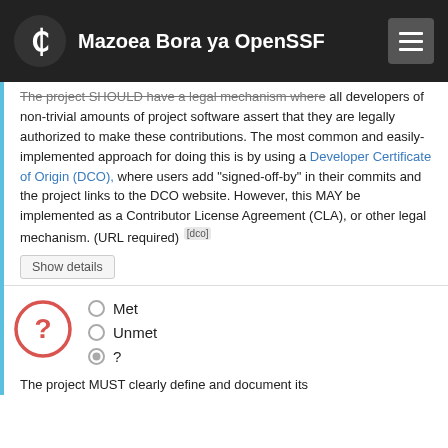Mazoea Bora ya OpenSSF
The project SHOULD have a legal mechanism where all developers of non-trivial amounts of project software assert that they are legally authorized to make these contributions. The most common and easily-implemented approach for doing this is by using a Developer Certificate of Origin (DCO), where users add "signed-off-by" in their commits and the project links to the DCO website. However, this MAY be implemented as a Contributor License Agreement (CLA), or other legal mechanism. (URL required) [dco]
Met
Unmet
?
The project MUST clearly define and document its